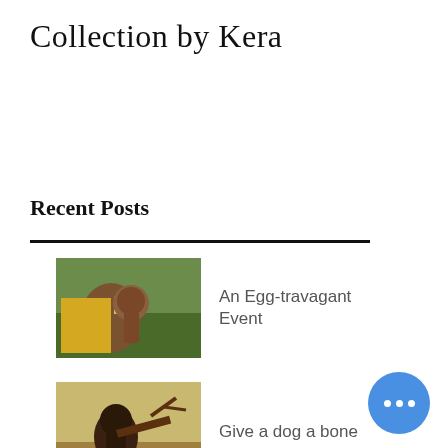Collection by Kera
Recent Posts
[Figure (photo): A dog wearing a yellow jacket sitting near a tree with decorative items]
An Egg-travagant Event
[Figure (photo): A dark chocolate Labrador retriever holding a large stick or antler in an open field]
Give a dog a bone
[Figure (photo): Skull-shaped dog cookies/biscuits arranged on a surface]
Canine Cookie Cut